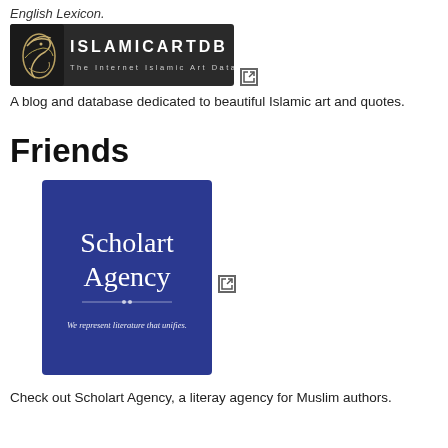English Lexicon.
[Figure (logo): ISLAMICARTDB - The Internet Islamic Art Database logo on dark background with Arabic calligraphy icon]
A blog and database dedicated to beautiful Islamic art and quotes.
Friends
[Figure (logo): Scholart Agency logo on blue background with text 'We represent literature that unifies.']
Check out Scholart Agency, a literay agency for Muslim authors.